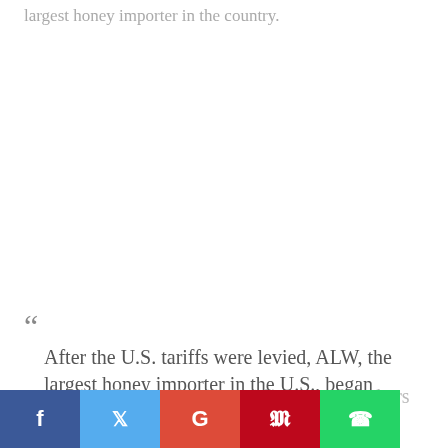largest honey importer in the country.
“ After the U.S. tariffs were levied, ALW, the largest honey importer in the U.S., began networking with Chinese honey producers and brokers cheap products.